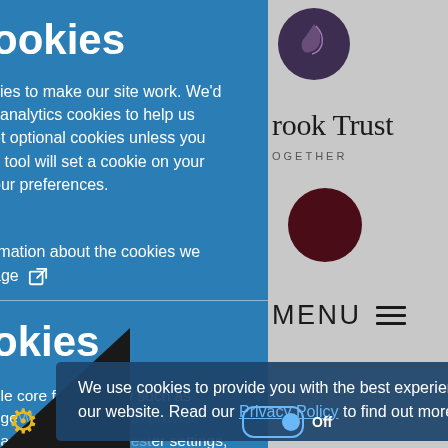[Figure (screenshot): Partially visible cookie consent panel on a website. Left side shows a blue cookie settings panel with text about cookies, analytics, and optional cookies. Right side shows a grey website background with a circular logo, 'rook Trust' text, 'OGETHER' tagline, a dark maroon circle, and MENU with hamburger icon. A dark semi-transparent cookie popup appears at the bottom overlapping both panels.]
ookies
kies to make our site work. We'd
l analytics cookies to help us
et optional cookies unless you
s tool will set a cookie on your
our preferences.
rmation about the cookies we
age
okies
ble core functionality such as
nge management;
hange your settings,
the preferences.
We use cookies to provide you with the best experience on our website. Read our Privacy Policy to find out more.